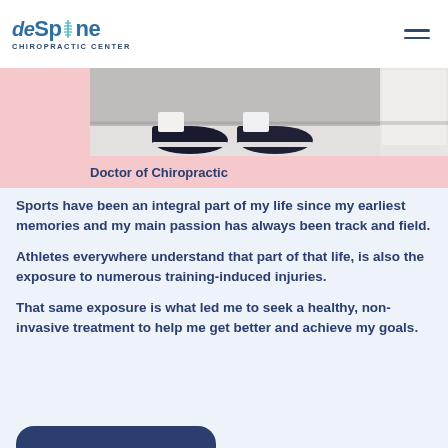deSpine CHIROPRACTIC CENTER
[Figure (photo): Partial view of a person's lower legs and feet wearing dark sneakers, on a light-colored floor, with a white cabinet in the background. Pink background on left side.]
Doctor of Chiropractic
Sports have been an integral part of my life since my earliest memories and my main passion has always been track and field.
Athletes everywhere understand that part of that life, is also the exposure to numerous training-induced injuries.
That same exposure is what led me to seek a healthy, non-invasive treatment to help me get better and achieve my goals.